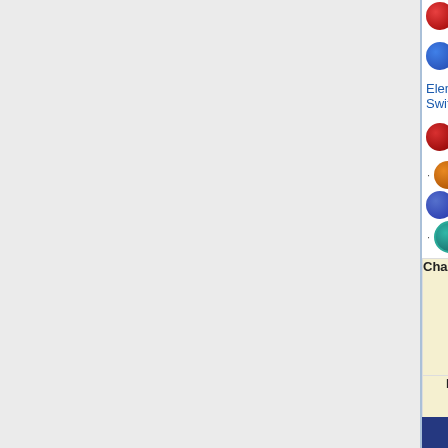Dodge Air
Dodge Rate Up ·
Elemental Switch ·
Lethal Attack Dodge
· Repel · Shield
Substitute · Ur
· Veil
Charge Bar
Charge Bar + ·
Charge Bar Gain U
Charged + · Instan
Uplifted
Healing
Autorevive ·
Death's Grace ·
Refresh · Revi
Revive
Other
Crests · Hostil
Hostility Up
Debuffs